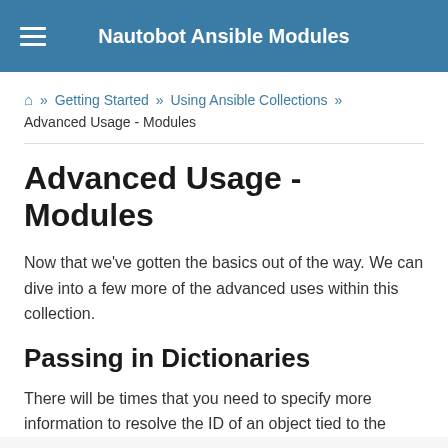Nautobot Ansible Modules
🏠 » Getting Started » Using Ansible Collections » Advanced Usage - Modules
Advanced Usage - Modules
Now that we've gotten the basics out of the way. We can dive into a few more of the advanced uses within this collection.
Passing in Dictionaries
There will be times that you need to specify more information to resolve the ID of an object tied to the